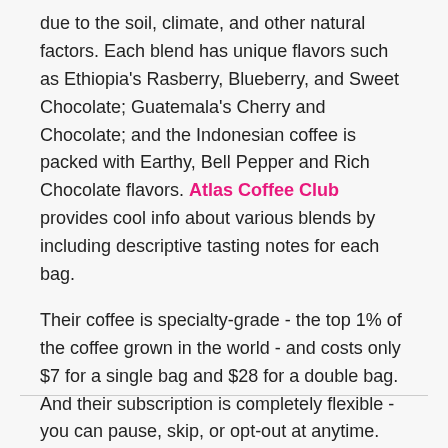due to the soil, climate, and other natural factors. Each blend has unique flavors such as Ethiopia's Rasberry, Blueberry, and Sweet Chocolate; Guatemala's Cherry and Chocolate; and the Indonesian coffee is packed with Earthy, Bell Pepper and Rich Chocolate flavors. Atlas Coffee Club provides cool info about various blends by including descriptive tasting notes for each bag.
Their coffee is specialty-grade - the top 1% of the coffee grown in the world - and costs only $7 for a single bag and $28 for a double bag. And their subscription is completely flexible - you can pause, skip, or opt-out at anytime.